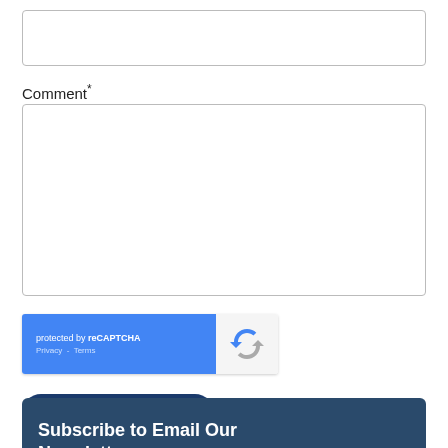[Figure (screenshot): Empty text input box at top of form]
Comment*
[Figure (screenshot): Large empty comment textarea input box]
[Figure (other): reCAPTCHA widget showing 'protected by reCAPTCHA' with Privacy and Terms links, and reCAPTCHA logo on right side]
[Figure (screenshot): Dark blue rounded 'Post A Comment' button]
Subscribe to Email Our Newsletter